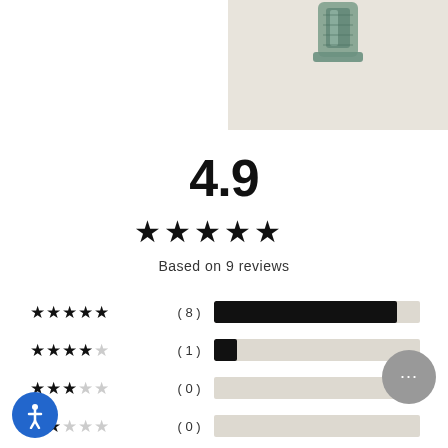[Figure (photo): Product photo (zipper/clasp close-up) in upper right corner on beige background]
4.9
[Figure (other): 5 filled star icons representing rating]
Based on 9 reviews
| Stars | Count | Bar |
| --- | --- | --- |
| ★★★★★ | (8) | 89% |
| ★★★★☆ | (1) | 11% |
| ★★★☆☆ | (0) | 0% |
| ★★☆☆☆ | (0) | 0% |
| ★☆☆☆☆ | (0) | 0% |